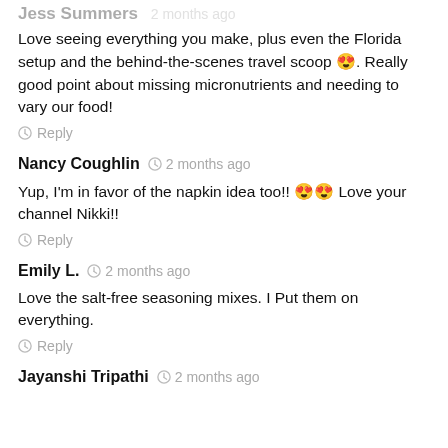Love seeing everything you make, plus even the Florida setup and the behind-the-scenes travel scoop 😍. Really good point about missing micronutrients and needing to vary our food!
Reply
Nancy Coughlin  2 months ago
Yup, I'm in favor of the napkin idea too!! 😍😍 Love your channel Nikki!!
Reply
Emily L.  2 months ago
Love the salt-free seasoning mixes. I Put them on everything.
Reply
Jayanshi Tripathi  2 months ago